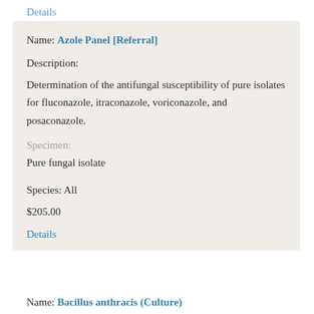Details
Name: Azole Panel [Referral]
Description:
Determination of the antifungal susceptibility of pure isolates for fluconazole, itraconazole, voriconazole, and posaconazole.
Specimen:
Pure fungal isolate
Species: All
$205.00
Details
Name: Bacillus anthracis (Culture)